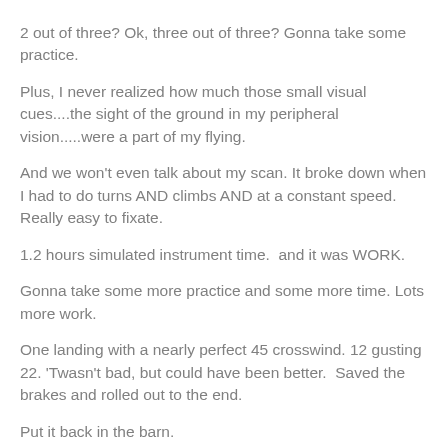2 out of three? Ok, three out of three? Gonna take some practice.
Plus, I never realized how much those small visual cues....the sight of the ground in my peripheral vision.....were a part of my flying.
And we won't even talk about my scan. It broke down when I had to do turns AND climbs AND at a constant speed. Really easy to fixate.
1.2 hours simulated instrument time.  and it was WORK.
Gonna take some more practice and some more time. Lots more work.
One landing with a nearly perfect 45 crosswind. 12 gusting 22. 'Twasn't bad, but could have been better.  Saved the brakes and rolled out to the end.
Put it back in the barn.